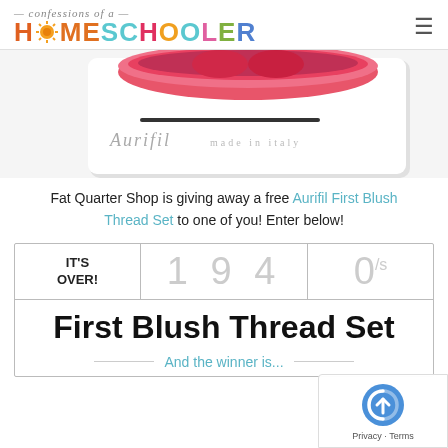Confessions of a Homeschooler
[Figure (photo): Aurifil First Blush Thread Set product box with pink spools visible at top, white box with Aurifil branding]
Fat Quarter Shop is giving away a free Aurifil First Blush Thread Set to one of you! Enter below!
| IT'S OVER! | 194 | 0/s |
| --- | --- | --- |
| First Blush Thread Set |  |  |
| And the winner is... |  |  |